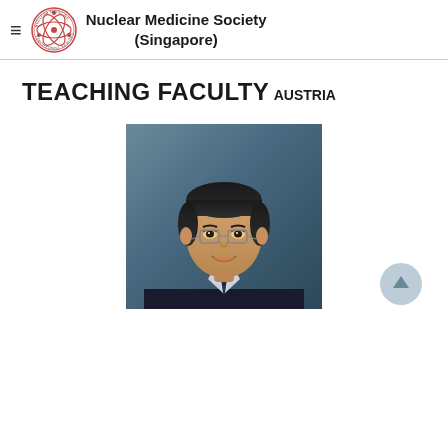Nuclear Medicine Society (Singapore)
TEACHING FACULTY
AUSTRIA
[Figure (photo): Headshot photo of an Asian male faculty member wearing glasses and a dark suit with striped shirt, smiling, against a dark grey background]